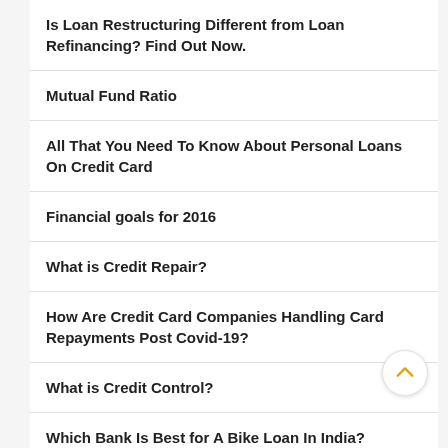Is Loan Restructuring Different from Loan Refinancing? Find Out Now.
Mutual Fund Ratio
All That You Need To Know About Personal Loans On Credit Card
Financial goals for 2016
What is Credit Repair?
How Are Credit Card Companies Handling Card Repayments Post Covid-19?
What is Credit Control?
Which Bank Is Best for A Bike Loan In India?
Low interest loans for wedding expenses
Related Article